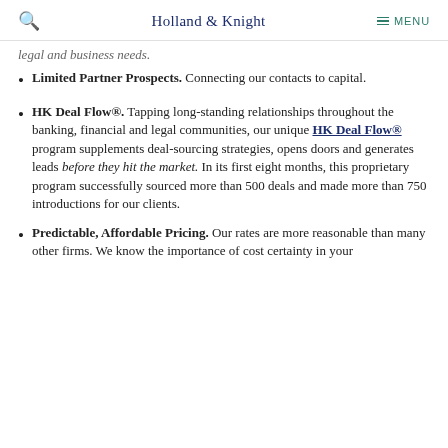Holland & Knight   MENU
legal and business needs.
Limited Partner Prospects. Connecting our contacts to capital.
HK Deal Flow®. Tapping long-standing relationships throughout the banking, financial and legal communities, our unique HK Deal Flow® program supplements deal-sourcing strategies, opens doors and generates leads before they hit the market. In its first eight months, this proprietary program successfully sourced more than 500 deals and made more than 750 introductions for our clients.
Predictable, Affordable Pricing. Our rates are more reasonable than many other firms. We know the importance of cost certainty in your